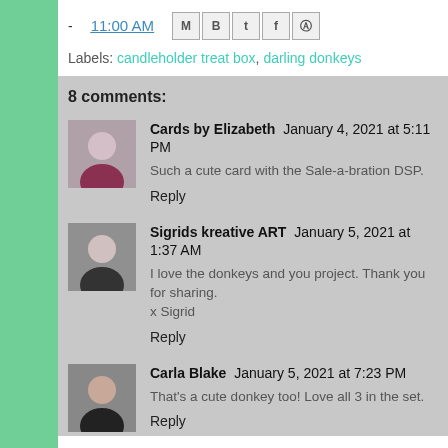- 11:00 AM [share icons]
Labels: candleholder treat box, darling donkeys
8 comments:
Cards by Elizabeth  January 4, 2021 at 5:11 PM
Such a cute card with the Sale-a-bration DSP.
Reply
Sigrids kreative ART  January 5, 2021 at 1:37 AM
I love the donkeys and you project. Thank you for sharing.
x Sigrid
Reply
Carla Blake  January 5, 2021 at 7:23 PM
That's a cute donkey too! Love all 3 in the set.
Reply